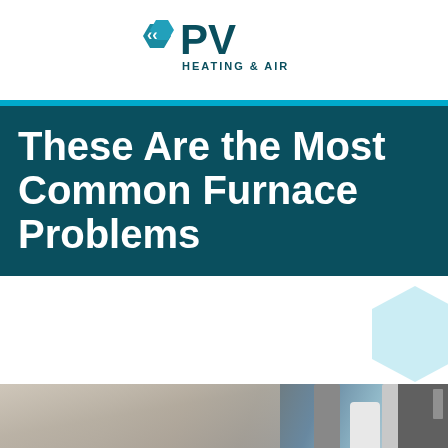PV HEATING & AIR
These Are the Most Common Furnace Problems
[Figure (photo): Photo of a furnace with visible pipes and plumbing components]
Call Us | Menu | Schedule Now